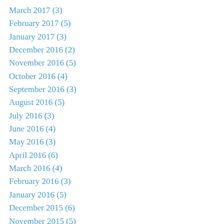March 2017 (3)
February 2017 (5)
January 2017 (3)
December 2016 (2)
November 2016 (5)
October 2016 (4)
September 2016 (3)
August 2016 (5)
July 2016 (3)
June 2016 (4)
May 2016 (3)
April 2016 (6)
March 2016 (4)
February 2016 (3)
January 2016 (5)
December 2015 (6)
November 2015 (5)
October 2015 (8)
September 2015 (2)
August 2015 (5)